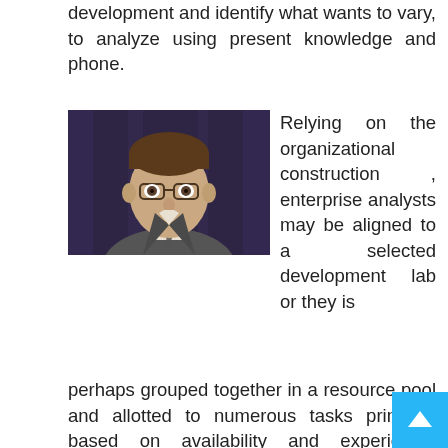development and identify what wants to vary, to analyze using present knowledge and phone.
[Figure (photo): Portrait photo of a man in a suit and tie wearing glasses, against a dark purple/blue curtain background.]
Relying on the organizational construction , enterprise analysts may be aligned to a selected development lab or they is perhaps grouped together in a resource pool and allotted to numerous tasks primarily based on availability and experience. Primary programming languages that are used by software builders must also be known to the Business Analyst in order that he can perceive the developer's problems or perspective. The precise stability of knowledge and technical know
The precise stability of knowledge and technical know